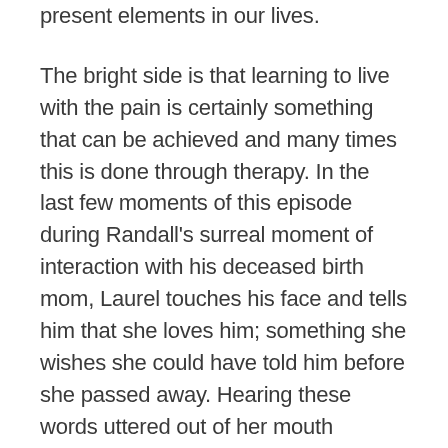present elements in our lives.
The bright side is that learning to live with the pain is certainly something that can be achieved and many times this is done through therapy. In the last few moments of this episode during Randall’s surreal moment of interaction with his deceased birth mom, Laurel touches his face and tells him that she loves him; something she wishes she could have told him before she passed away. Hearing these words uttered out of her mouth profoundly affects Randall, as it likely would for most adoptees. At the core of each adoptee there is a wonderment of whether we were loved by the